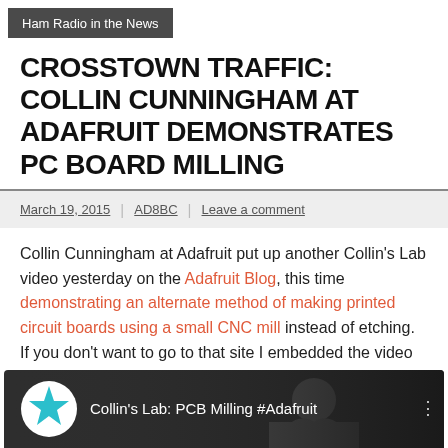Ham Radio in the News
CROSSTOWN TRAFFIC: COLLIN CUNNINGHAM AT ADAFRUIT DEMONSTRATES PC BOARD MILLING
March 19, 2015 | AD8BC | Leave a comment
Collin Cunningham at Adafruit put up another Collin’s Lab video yesterday on the Adafruit Blog, this time demonstrating an alternate method of making printed circuit boards using a small CNC mill instead of etching. If you don’t want to go to that site I embedded the video below.
[Figure (screenshot): YouTube video thumbnail showing Collin's Lab: PCB Milling #Adafruit with a star logo icon and person silhouette]